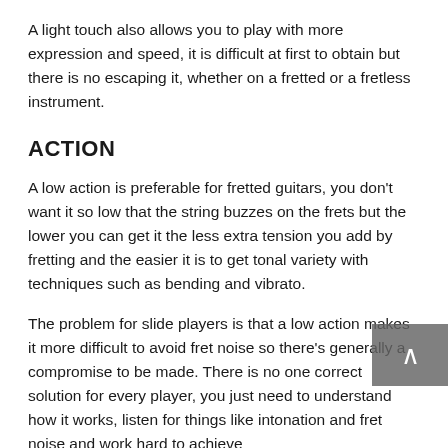A light touch also allows you to play with more expression and speed, it is difficult at first to obtain but there is no escaping it, whether on a fretted or a fretless instrument.
ACTION
A low action is preferable for fretted guitars, you don't want it so low that the string buzzes on the frets but the lower you can get it the less extra tension you add by fretting and the easier it is to get tonal variety with techniques such as bending and vibrato.
The problem for slide players is that a low action makes it more difficult to avoid fret noise so there's generally a compromise to be made. There is no one correct solution for every player, you just need to understand how it works, listen for things like intonation and fret noise and work hard to achieve